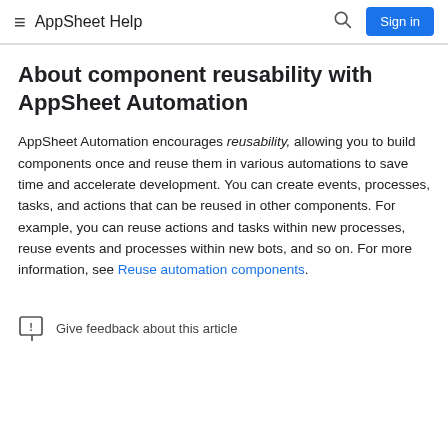AppSheet Help
About component reusability with AppSheet Automation
AppSheet Automation encourages reusability, allowing you to build components once and reuse them in various automations to save time and accelerate development. You can create events, processes, tasks, and actions that can be reused in other components. For example, you can reuse actions and tasks within new processes, reuse events and processes within new bots, and so on. For more information, see Reuse automation components.
Give feedback about this article